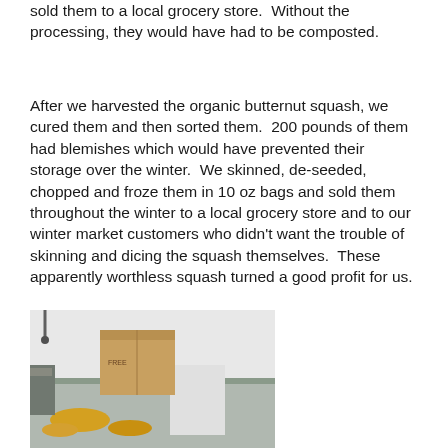sold them to a local grocery store.  Without the processing, they would have had to be composted.
After we harvested the organic butternut squash, we cured them and then sorted them.  200 pounds of them had blemishes which would have prevented their storage over the winter.  We skinned, de-seeded, chopped and froze them in 10 oz bags and sold them throughout the winter to a local grocery store and to our winter market customers who didn't want the trouble of skinning and dicing the squash themselves.  These apparently worthless squash turned a good profit for us.
[Figure (photo): A person in white protective clothing processing squash at a stainless steel work station, with cardboard boxes and yellow squash scraps visible.]